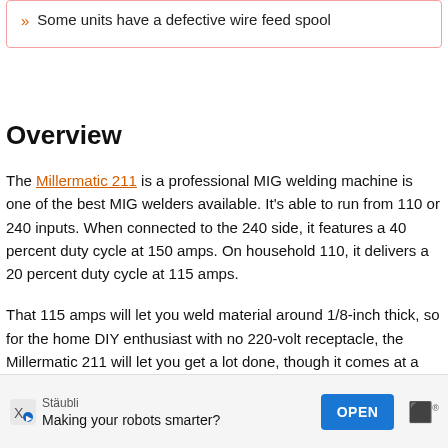Some units have a defective wire feed spool
Overview
The Millermatic 211 is a professional MIG welding machine is one of the best MIG welders available. It’s able to run from 110 or 240 inputs. When connected to the 240 side, it features a 40 percent duty cycle at 150 amps. On household 110, it delivers a 20 percent duty cycle at 115 amps.
That 115 amps will let you weld material around 1/8-inch thick, so for the home DIY enthusiast with no 220-volt receptacle, the Millermatic 211 will let you get a lot done, though it comes at a real cost.